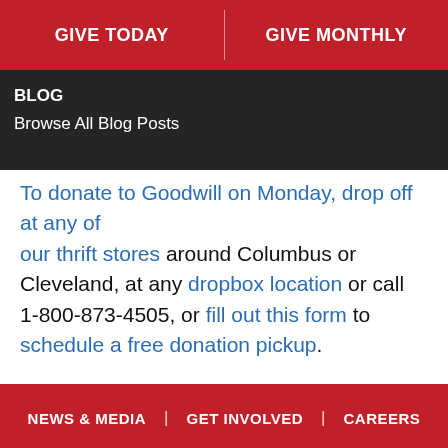GIVE TODAY | GIVE MONTHLY
BLOG
Browse All Blog Posts
To donate to Goodwill on Monday, drop off at any of our thrift stores around Columbus or Cleveland, at any dropbox location or call 1-800-873-4505, or fill out this form to schedule a free donation pickup.
NEWS & MEDIA | GET INVOLVED | CAREERS
[Figure (logo): Volunteers of America logo - white V-shaped chevron marks on dark background with partial text]